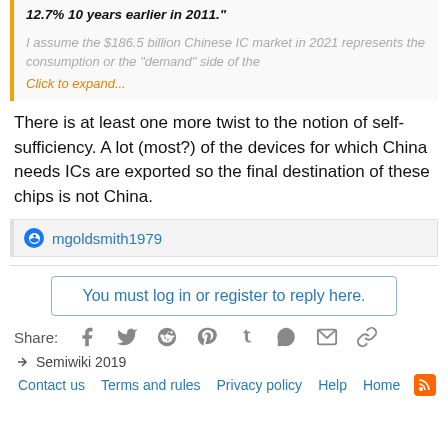12.7% 10 years earlier in 2011."
I assume the $186.5 billion Chinese IC market in 2021 represents the consumption or the "demand" side of the
Click to expand...
There is at least one more twist to the notion of self-sufficiency. A lot (most?) of the devices for which China needs ICs are exported so the final destination of these chips is not China.
mgoldsmith1979
You must log in or register to reply here.
Share:
Semiwiki 2019
Contact us   Terms and rules   Privacy policy   Help   Home